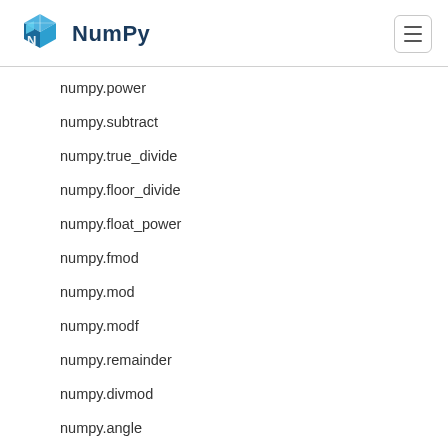NumPy
numpy.power
numpy.subtract
numpy.true_divide
numpy.floor_divide
numpy.float_power
numpy.fmod
numpy.mod
numpy.modf
numpy.remainder
numpy.divmod
numpy.angle
numpy.real
numpy.imag